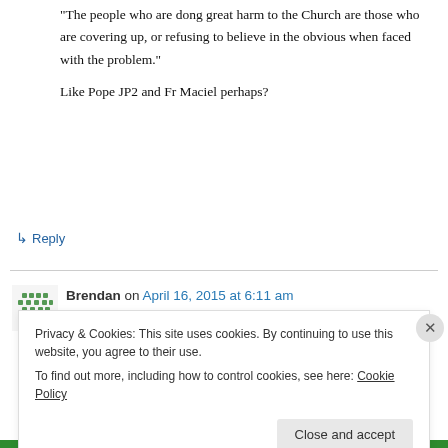“The people who are dong great harm to the Church are those who are covering up, or refusing to believe in the obvious when faced with the problem.”
Like Pope JP2 and Fr Maciel perhaps?
↳ Reply
Brendan on April 16, 2015 at 6:11 am
Privacy & Cookies: This site uses cookies. By continuing to use this website, you agree to their use.
To find out more, including how to control cookies, see here: Cookie Policy
Close and accept